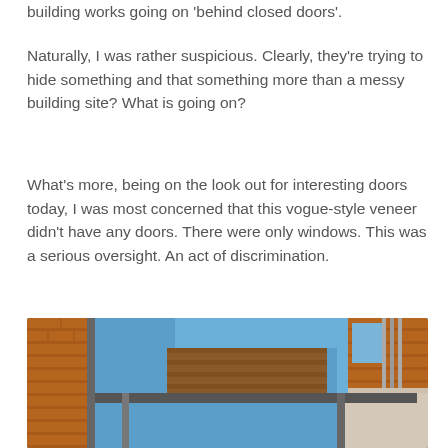building works going on 'behind closed doors'.
Naturally, I was rather suspicious. Clearly, they're trying to hide something and that something more than a messy building site? What is going on?
What's more, being on the look out for interesting doors today, I was most concerned that this vogue-style veneer didn't have any doors. There were only windows. This was a serious oversight. An act of discrimination.
[Figure (photo): Photograph looking up at a brick building under construction or demolition, showing exposed brick walls, metal scaffolding beams, blue sky, and remnants of white render/plaster on the facade.]